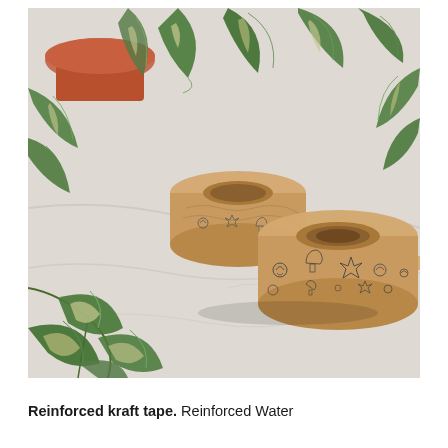[Figure (photo): Two rolls of reinforced kraft tape with printed sea-themed motifs (starfish, shells, sea creatures) lying on a white marble surface, surrounded by trailing green and white variegated pothos plant leaves. One roll is upright showing the tape face, the other leans against it at an angle.]
Reinforced kraft tape. Reinforced Water